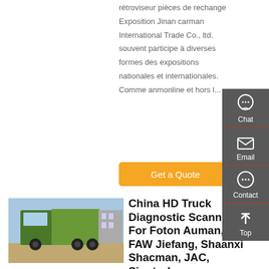rétroviseur pièces de rechange Exposition Jinan carman International Trade Co., ltd. souvent participe à diverses formes des expositions nationales et internationales. Comme anmonline et hors l...
[Figure (other): Orange 'Get a Quote' button]
[Figure (photo): Photo of a green HD truck (dump truck) parked in an industrial area]
China HD Truck Diagnostic Scanner For Foton Auman, FAW Jiefang, Shaanxi Shacman, JAC, Sinotruk...
[Figure (other): Sidebar with Chat, Email, Contact, and Top navigation icons on dark grey background]